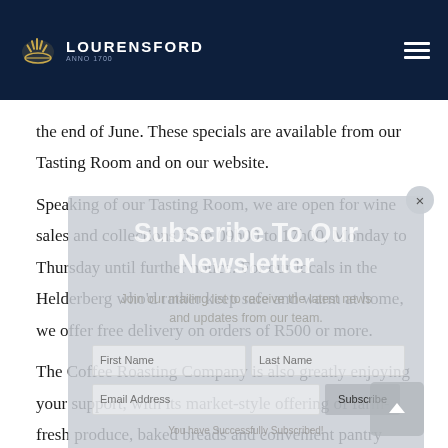LOURENSFORD
the end of June. These specials are available from our Tasting Room and on our website.
Speaking of our Tasting Room, we are open for wine sales and collections from 09h00 to 17h00, Monday to Thursday until further notice. For our locals in the Helderberg who'd rather keep safe and warm at home, we offer free delivery on orders of R500 or more.
[Figure (other): Subscribe To Our Newsletter popup overlay with email subscription form, semi-transparent grey background]
The Coffee Roasting Company is also greatly enjoying your support, with its market-style offering of farm-fresh produce, baked breads and convenient pantry essentials proving very